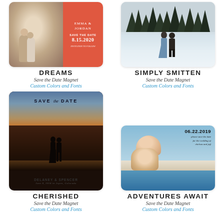[Figure (photo): Dreams save the date magnet - couple photo on left half, coral/orange panel on right with Jordan name, Save the Date 8.15.2020]
DREAMS
Save the Date Magnet
Custom Colors and Fonts
[Figure (photo): Simply Smitten save the date magnet - couple embracing in snowy mountain scene with evergreen trees]
SIMPLY SMITTEN
Save the Date Magnet
Custom Colors and Fonts
[Figure (photo): Cherished save the date magnet - silhouette of couple kissing at sunset on beach, Save the Date text at top, Delaney & Spencer June 8, 2024 in Aspen, Colorado at bottom]
CHERISHED
Save the Date Magnet
Custom Colors and Fonts
[Figure (photo): Adventures Await save the date magnet - couple at beach with ocean in background, 06.22.2019 date, please save the date for the wedding of chelsea and jeff]
ADVENTURES AWAIT
Save the Date Magnet
Custom Colors and Fonts